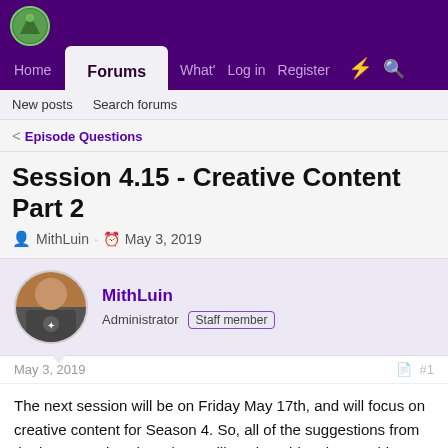Home | Forums | What' | Log in | Register
New posts  Search forums
< Episode Questions
Session 4.15 - Creative Content Part 2
MithLuin · May 3, 2019
MithLuin
Administrator  Staff member
May 3, 2019   #1
The next session will be on Friday May 17th, and will focus on creative content for Season 4. So, all of the suggestions from the last 'Creative' thread are still on the table, plus anything else you'd like to talk about! We talked about the language barrier at the end of today's session.